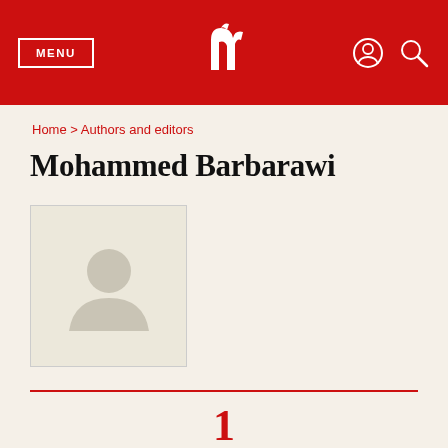MENU | [logo] | [user icon] [search icon]
Home > Authors and editors
Mohammed Barbarawi
[Figure (illustration): Placeholder profile image with a gray silhouette of a person on a light beige background, inside a bordered square]
1